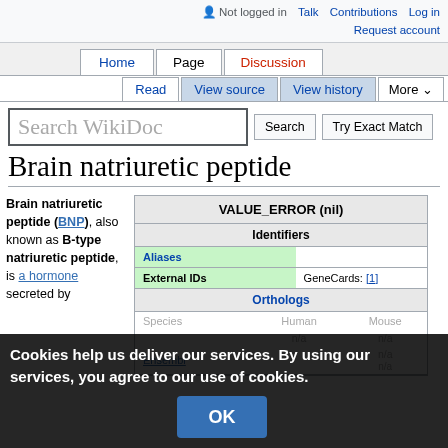Not logged in  Talk  Contributions  Log in  Request account
Home  Page  Discussion  Read  View source  View history  More
Search WikiDoc
Brain natriuretic peptide
Brain natriuretic peptide (BNP), also known as B-type natriuretic peptide, is a hormone secreted by
| VALUE_ERROR (nil) |  |  |
| --- | --- | --- |
| Identifiers |  |  |
| Aliases |  |  |
| External IDs |  | GeneCards: [1] |
| Orthologs |  |  |
| Species | Human | Mouse |
|  | n/a | n/a |
| Ensembl |  | n/a  n/a |
Cookies help us deliver our services. By using our services, you agree to our use of cookies.